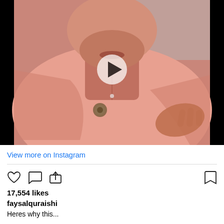[Figure (screenshot): Instagram video post thumbnail showing a man in a salmon/pink kurta shirt with a pin badge, video play button overlay on black background]
View more on Instagram
[Figure (other): Instagram action bar icons: heart (like), comment bubble, share arrow (left side); bookmark icon (right side)]
17,554 likes
faysalquraishi
Heres why this...